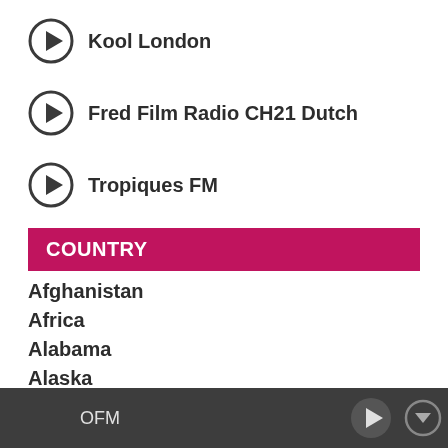Kool London
Fred Film Radio CH21 Dutch
Tropiques FM
COUNTRY
Afghanistan
Africa
Alabama
Alaska
Albania
Algeria
OFM